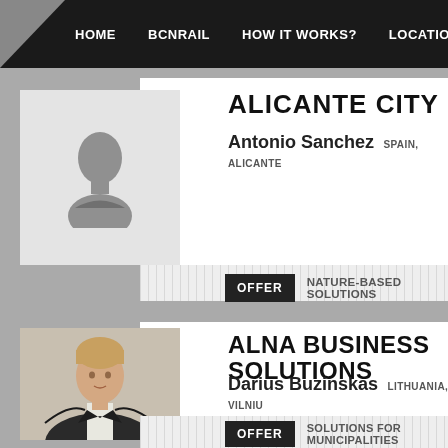HOME | BCNRAIL | HOW IT WORKS? | LOCATION &
ALICANTE CITY
Antonio Sanchez SPAIN, ALICANTE
OFFER NATURE-BASED SOLUTIONS
ALNA BUSINESS SOLUTIONS
Darius Buzinskas LITHUANIA, VILNIU
OFFER SOLUTIONS FOR MUNICIPALITIES